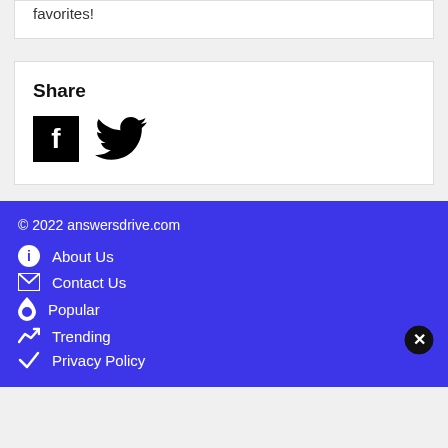favorites!
Share
[Figure (illustration): Facebook and Twitter social share icons]
© 2022 answersdrive.com
About Us
Contact Us
Popular
Trending
Privacy Policy